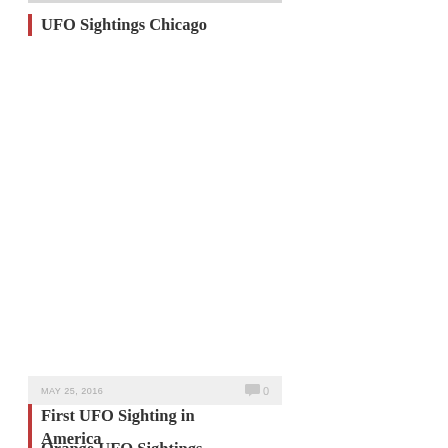UFO Sightings Chicago
MAY 25, 2016   0
First UFO Sighting in America
MARCH 16, 2016   0
Orange UFO Sightings